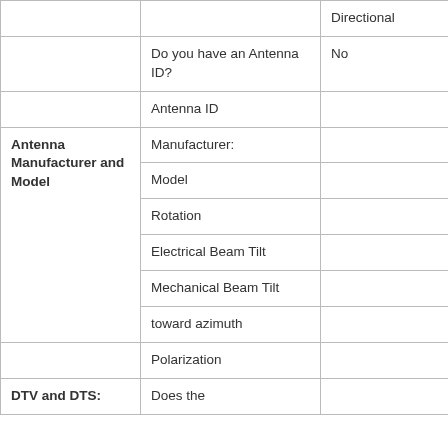|  |  | Directional |
| --- | --- | --- |
|  | Do you have an Antenna ID? | No |
|  | Antenna ID |  |
| Antenna Manufacturer and Model | Manufacturer: |  |
|  | Model |  |
|  | Rotation |  |
|  | Electrical Beam Tilt |  |
|  | Mechanical Beam Tilt |  |
|  | toward azimuth |  |
|  | Polarization |  |
| DTV and DTS: | Does the |  |